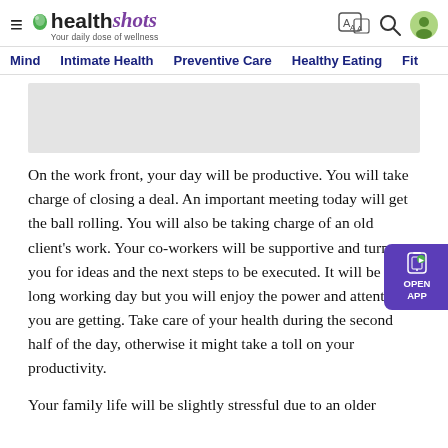healthshots — Your daily dose of wellness
Mind  Intimate Health  Preventive Care  Healthy Eating  Fit
[Figure (other): Gray advertisement banner placeholder]
On the work front, your day will be productive. You will take charge of closing a deal. An important meeting today will get the ball rolling. You will also be taking charge of an old client's work. Your co-workers will be supportive and turn to you for ideas and the next steps to be executed. It will be a long working day but you will enjoy the power and attention you are getting. Take care of your health during the second half of the day, otherwise it might take a toll on your productivity.
Your family life will be slightly stressful due to an older